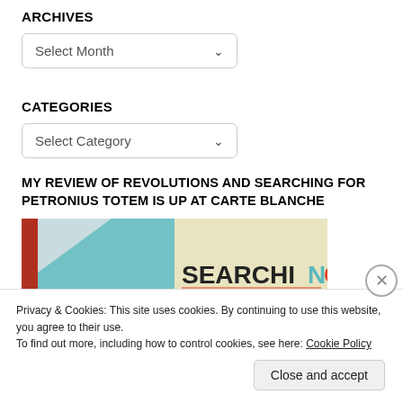ARCHIVES
Select Month
CATEGORIES
Select Category
MY REVIEW OF REVOLUTIONS AND SEARCHING FOR PETRONIUS TOTEM IS UP AT CARTE BLANCHE
[Figure (photo): Two book covers side by side: left shows 'REVOLUTIONS' with teal/geometric design, right shows 'SEARCHING FOR' with colorful glitchy text on cream background]
Privacy & Cookies: This site uses cookies. By continuing to use this website, you agree to their use.
To find out more, including how to control cookies, see here: Cookie Policy
Close and accept